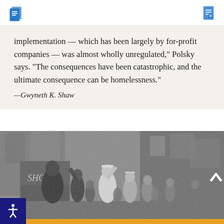implementation — which has been largely by for-profit companies — was almost wholly unregulated," Polsky says. "The consequences have been catastrophic, and the ultimate consequence can be homelessness." —Gwyneth K. Shaw
[Figure (photo): Black and white historical photograph showing a crowd of people on a city street, with a shoe store visible in the background and multi-story buildings. People appear to have their hands raised.]